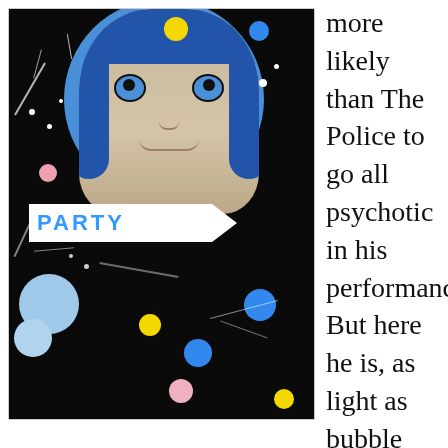[Figure (illustration): Album cover art for 'PARTY' — dark/black background with colorful polka dots (yellow, blue, pink, light blue), white paint splatter lines, a large blue circle in the upper center containing a pale-faced person with blue hair and wide blue eyes, and a white banner with the word PARTY in blue block letters with an arrow/chevron shape on the right.]
more likely than The Police to go all psychotic in his performances. But here he is, as light as bubble